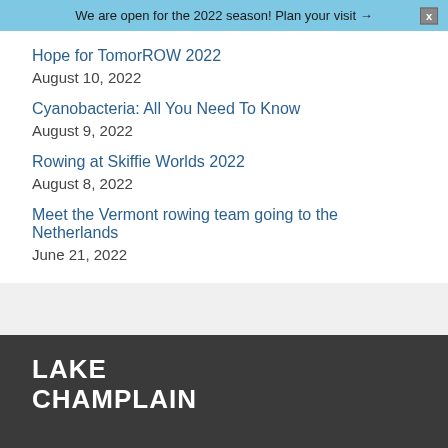We are open for the 2022 season! Plan your visit →
Hope for TomorROW 2022
August 10, 2022
Cyanobacteria: All You Need To Know
August 9, 2022
Rowing at Skiffie Worlds 2022
August 8, 2022
Meet the Vermont rowing team going to the Netherlands
June 21, 2022
LAKE CHAMPLAIN